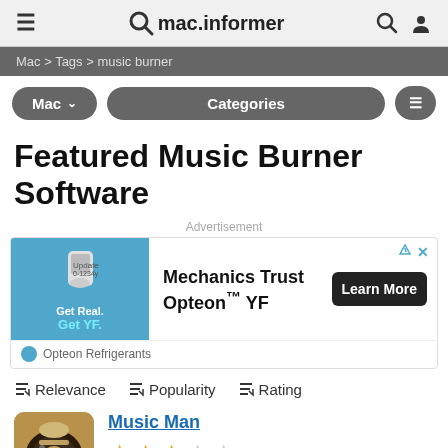mac.informer
Mac > Tags > music burner
Mac ∨    Categories    ≡
Featured Music Burner Software
Advertisement
[Figure (screenshot): Advertisement for Opteon YF refrigerant by Opteon Refrigerants, showing a bottle image, text 'Get Real. Get YF.', 'Mechanics Trust Opteon™ YF', and a 'Learn More' button.]
≡↓ Relevance   ≡↓ Popularity   ≡↓ Rating
Music Man
★★★☆☆